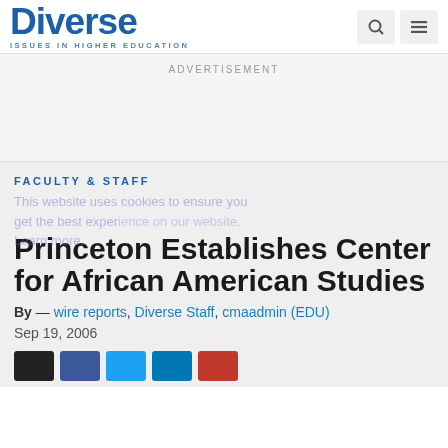Diverse — ISSUES IN HIGHER EDUCATION
ADVERTISEMENT
FACULTY & STAFF
This website uses cookies to ensure you get the best experience on our website. Learn more.
Princeton Establishes Center for African American Studies
By — wire reports, Diverse Staff, cmaadmin (EDU)
Sep 19, 2006